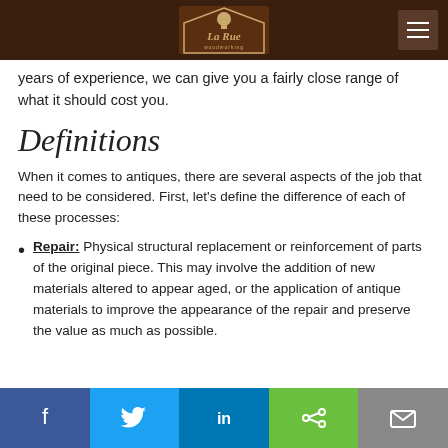La Rue woodworking
years of experience, we can give you a fairly close range of what it should cost you.
Definitions
When it comes to antiques, there are several aspects of the job that need to be considered. First, let's define the difference of each of these processes:
Repair: Physical structural replacement or reinforcement of parts of the original piece. This may involve the addition of new materials altered to appear aged, or the application of antique materials to improve the appearance of the repair and preserve the value as much as possible.
Facebook Twitter LinkedIn Share Email